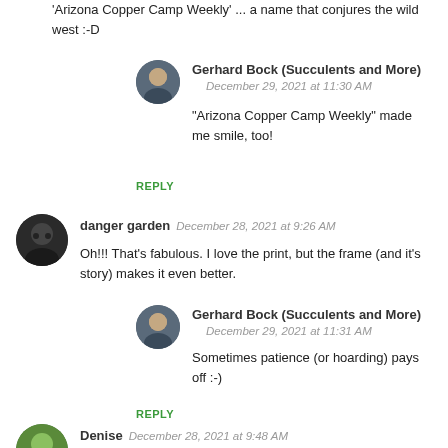'Arizona Copper Camp Weekly' ... a name that conjures the wild west :-D
[Figure (photo): Round avatar photo of Gerhard Bock]
Gerhard Bock (Succulents and More)
December 29, 2021 at 11:30 AM
"Arizona Copper Camp Weekly" made me smile, too!
REPLY
[Figure (photo): Round avatar photo of danger garden user]
danger garden
December 28, 2021 at 9:26 AM
Oh!!! That's fabulous. I love the print, but the frame (and it's story) makes it even better.
[Figure (photo): Round avatar photo of Gerhard Bock]
Gerhard Bock (Succulents and More)
December 29, 2021 at 11:31 AM
Sometimes patience (or hoarding) pays off :-)
REPLY
[Figure (photo): Round avatar photo of Denise]
Denise
December 28, 2021 at 9:48 AM